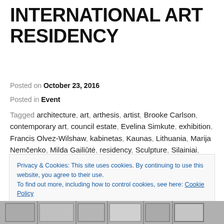INTERNATIONAL ART RESIDENCY
Posted on October 23, 2016
Posted in Event
Tagged architecture, art, arthesis, artist, Brooke Carlson, contemporary art, council estate, Evelina Simkute, exhibition, Francis Olvez-Wilshaw, kabinetas, Kaunas, Lithuania, Marija Nemčenko, Milda Gailiūtė, residency, Sculpture, Silainiai, Silainiai Project, The Lake Twins, urban
Privacy & Cookies: This site uses cookies. By continuing to use this website, you agree to their use. To find out more, including how to control cookies, see here: Cookie Policy
Close and accept
[Figure (photo): Bottom strip showing a partial view of black and white photographs]